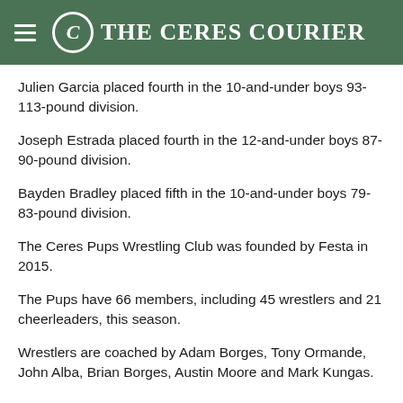The Ceres Courier
Julien Garcia placed fourth in the 10-and-under boys 93-113-pound division.
Joseph Estrada placed fourth in the 12-and-under boys 87-90-pound division.
Bayden Bradley placed fifth in the 10-and-under boys 79-83-pound division.
The Ceres Pups Wrestling Club was founded by Festa in 2015.
The Pups have 66 members, including 45 wrestlers and 21 cheerleaders, this season.
Wrestlers are coached by Adam Borges, Tony Ormande, John Alba, Brian Borges, Austin Moore and Mark Kungas.